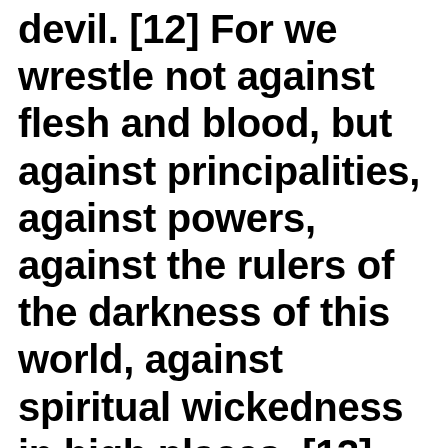devil. [12] For we wrestle not against flesh and blood, but against principalities, against powers, against the rulers of the darkness of this world, against spiritual wickedness in high places. [13] Wherefore take unto you the whole armour of God, that ye may be able to withstand in the evil day